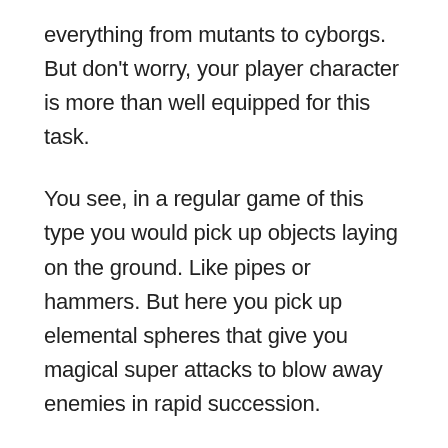everything from mutants to cyborgs. But don't worry, your player character is more than well equipped for this task.
You see, in a regular game of this type you would pick up objects laying on the ground. Like pipes or hammers. But here you pick up elemental spheres that give you magical super attacks to blow away enemies in rapid succession.
Robo Army